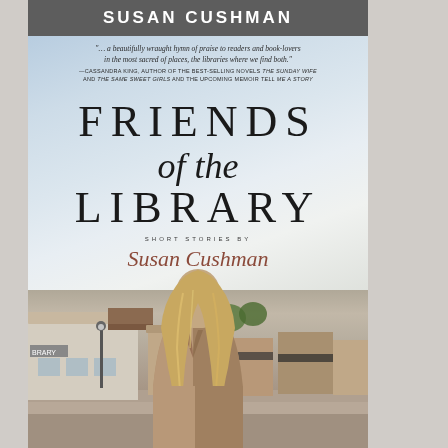[Figure (photo): Book cover for 'Friends of the Library' by Susan Cushman. Shows a woman with long blonde hair viewed from behind, standing in front of a library and small town street scene. Cloudy sky background. Author name 'SUSAN CUSHMAN' in white text on dark banner at top. Title 'FRIENDS of the LIBRARY' in large serif type. Subtitle 'SHORT STORIES BY'. Author name 'Susan Cushman' in italic reddish-brown type. Pull quote at top from Cassandra King.]